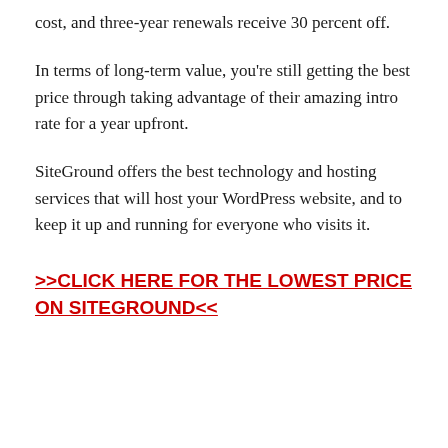cost, and three-year renewals receive 30 percent off.
In terms of long-term value, you're still getting the best price through taking advantage of their amazing intro rate for a year upfront.
SiteGround offers the best technology and hosting services that will host your WordPress website, and to keep it up and running for everyone who visits it.
>>CLICK HERE FOR THE LOWEST PRICE ON SITEGROUND<<